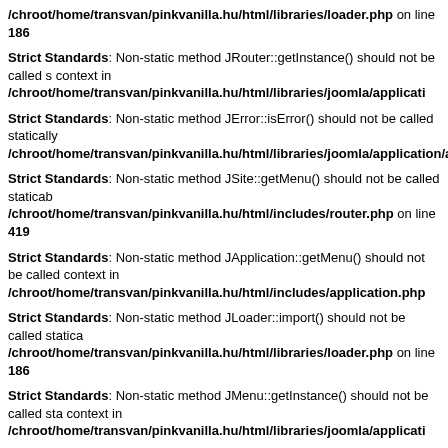/chroot/home/transvan/pinkvanilla.hu/html/libraries/loader.php on line 186
Strict Standards: Non-static method JRouter::getInstance() should not be called s context in /chroot/home/transvan/pinkvanilla.hu/html/libraries/joomla/applicati
Strict Standards: Non-static method JError::isError() should not be called statically /chroot/home/transvan/pinkvanilla.hu/html/libraries/joomla/application/applic
Strict Standards: Non-static method JSite::getMenu() should not be called staticab /chroot/home/transvan/pinkvanilla.hu/html/includes/router.php on line 419
Strict Standards: Non-static method JApplication::getMenu() should not be called context in /chroot/home/transvan/pinkvanilla.hu/html/includes/application.php
Strict Standards: Non-static method JLoader::import() should not be called statica /chroot/home/transvan/pinkvanilla.hu/html/libraries/loader.php on line 186
Strict Standards: Non-static method JMenu::getInstance() should not be called sta context in /chroot/home/transvan/pinkvanilla.hu/html/libraries/joomla/applicati
Strict Standards: Non-static method JError::isError() should not be called statically /chroot/home/transvan/pinkvanilla.hu/html/libraries/joomla/application/applic
Strict Standards: Non-static method JFactory::getApplication() should not be calle context in /chroot/home/transvan/pinkvanilla.hu/html/includes/router.php on li
Strict Standards: Non-static method JSite::getMenu() should not be called staticab /chroot/home/transvan/pinkvanilla.hu/html/includes/router.php on line 295